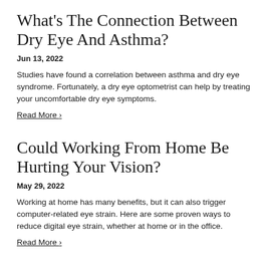What's The Connection Between Dry Eye And Asthma?
Jun 13, 2022
Studies have found a correlation between asthma and dry eye syndrome. Fortunately, a dry eye optometrist can help by treating your uncomfortable dry eye symptoms.
Read More ›
Could Working From Home Be Hurting Your Vision?
May 29, 2022
Working at home has many benefits, but it can also trigger computer-related eye strain. Here are some proven ways to reduce digital eye strain, whether at home or in the office.
Read More ›